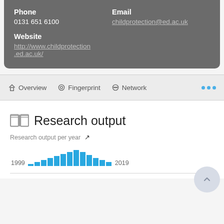Phone
0131 651 6100
Email
childprotection@ed.ac.uk
Website
http://www.childprotection.ed.ac.uk/
Overview   Fingerprint   Network   ...
Research output
Research output per year
[Figure (bar-chart): Research output per year]